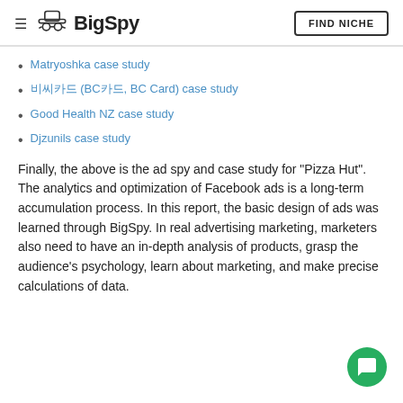BigSpy — FIND NICHE
Matryoshka case study
비씨카드 (BC카드, BC Card) case study
Good Health NZ case study
Djzunils case study
Finally, the above is the ad spy and case study for "Pizza Hut". The analytics and optimization of Facebook ads is a long-term accumulation process. In this report, the basic design of ads was learned through BigSpy. In real advertising marketing, marketers also need to have an in-depth analysis of products, grasp the audience's psychology, learn about marketing, and make precise calculations of data.